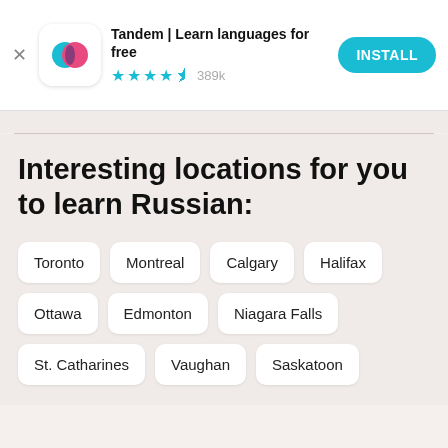[Figure (screenshot): Tandem app advertisement banner with logo icon (overlapping cyan and pink circles), app name 'Tandem | Learn languages for free', 4.5 star rating with 389k reviews, and an INSTALL button]
Interesting locations for you to learn Russian:
Toronto
Montreal
Calgary
Halifax
Ottawa
Edmonton
Niagara Falls
St. Catharines
Vaughan
Saskatoon